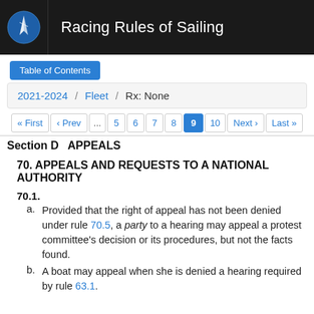Racing Rules of Sailing
Table of Contents
2021-2024 / Fleet / Rx: None
« First ‹ Prev ... 5 6 7 8 9 10 Next › Last »
Section D   APPEALS
70. APPEALS AND REQUESTS TO A NATIONAL AUTHORITY
70.1.
a. Provided that the right of appeal has not been denied under rule 70.5, a party to a hearing may appeal a protest committee's decision or its procedures, but not the facts found.
b. A boat may appeal when she is denied a hearing required by rule 63.1.